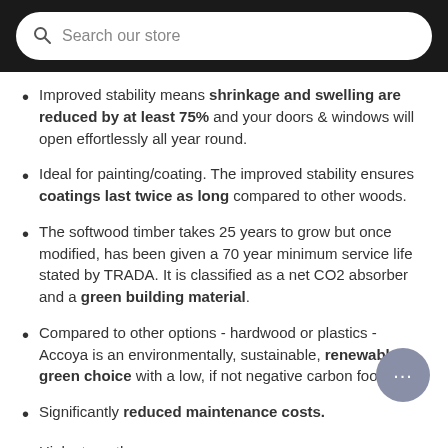Search our store
Improved stability means shrinkage and swelling are reduced by at least 75% and your doors & windows will open effortlessly all year round.
Ideal for painting/coating. The improved stability ensures coatings last twice as long compared to other woods.
The softwood timber takes 25 years to grow but once modified, has been given a 70 year minimum service life stated by TRADA. It is classified as a net CO2 absorber and a green building material.
Compared to other options - hardwood or plastics - Accoya is an environmentally, sustainable, renewable green choice with a low, if not negative carbon footprint.
Significantly reduced maintenance costs.
High strength